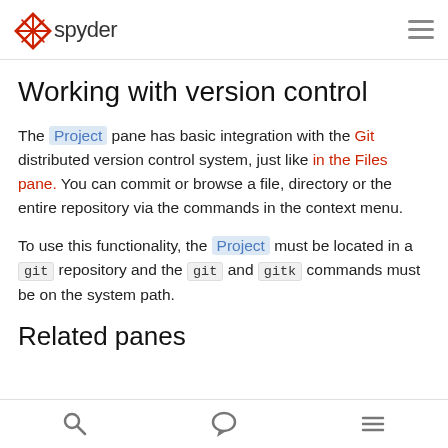Spyder
Working with version control
The Project pane has basic integration with the Git distributed version control system, just like in the Files pane. You can commit or browse a file, directory or the entire repository via the commands in the context menu.
To use this functionality, the Project must be located in a git repository and the git and gitk commands must be on the system path.
Related panes
search | chat | menu